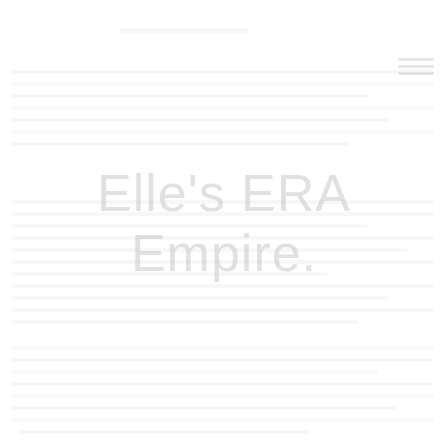[Figure (logo): Watermarked background image with faint text content and 'Elle's ERA Empire.' watermark text overlaid in light gray in the center of the page. Faint lines of text visible throughout the page suggesting document content. Hamburger menu icon visible in upper right.]